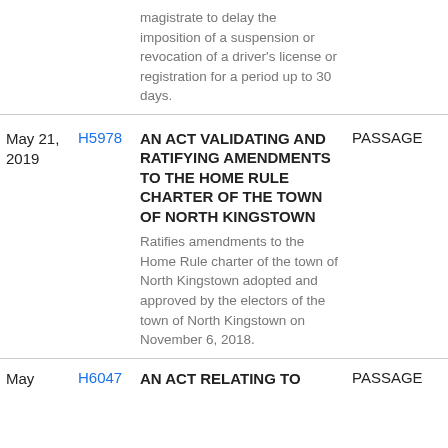| Date | Bill | Description | Status |
| --- | --- | --- | --- |
|  |  | magistrate to delay the imposition of a suspension or revocation of a driver's license or registration for a period up to 30 days. |  |
| May 21, 2019 | H5978 | AN ACT VALIDATING AND RATIFYING AMENDMENTS TO THE HOME RULE CHARTER OF THE TOWN OF NORTH KINGSTOWN
Ratifies amendments to the Home Rule charter of the town of North Kingstown adopted and approved by the electors of the town of North Kingstown on November 6, 2018. | PASSAGE |
| May | H6047 | AN ACT RELATING TO | PASSAGE |